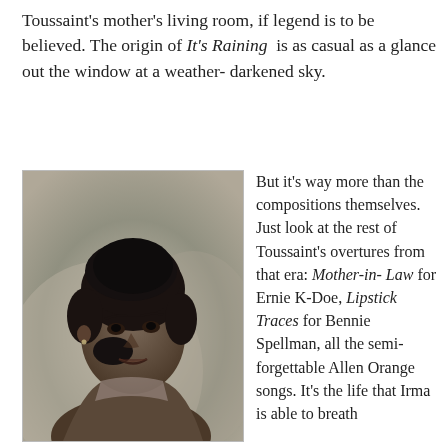Toussaint's mother's living room, if legend is to be believed. The origin of It's Raining is as casual as a glance out the window at a weather- darkened sky.
[Figure (photo): Black and white portrait photograph of a young woman with an upswept bouffant hairstyle, wearing a sleeveless top, posed at a slight angle looking back at the camera with a gentle smile.]
But it's way more than the compositions themselves. Just look at the rest of Toussaint's overtures from that era: Mother-in-Law for Ernie K-Doe, Lipstick Traces for Bennie Spellman, all the semi-forgettable Allen Orange songs. It's the life that Irma is able to breath